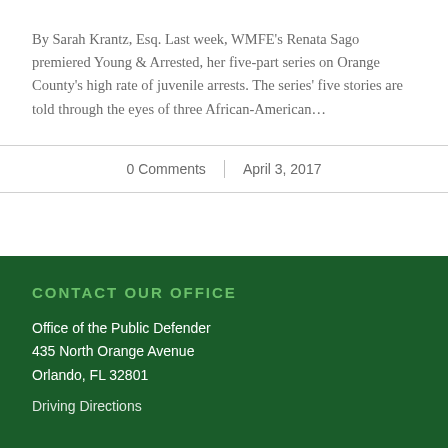By Sarah Krantz, Esq. Last week, WMFE's Renata Sago premiered Young & Arrested, her five-part series on Orange County's high rate of juvenile arrests. The series' five stories are told through the eyes of three African-American…
0 Comments | April 3, 2017
CONTACT OUR OFFICE
Office of the Public Defender
435 North Orange Avenue
Orlando, FL 32801
Driving Directions